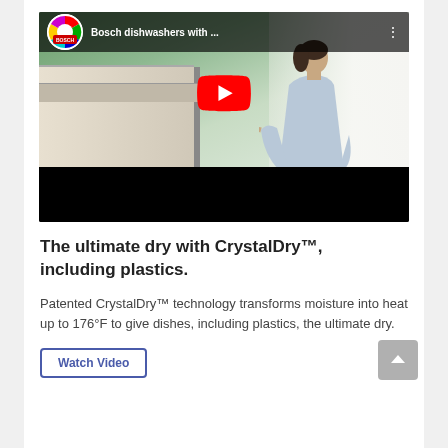[Figure (screenshot): YouTube video thumbnail showing a woman in a light blue shirt reaching toward a Bosch dishwasher in a bright kitchen. Video title reads 'Bosch dishwashers with ...' with YouTube play button overlay.]
The ultimate dry with CrystalDry™, including plastics.
Patented CrystalDry™ technology transforms moisture into heat up to 176°F to give dishes, including plastics, the ultimate dry.